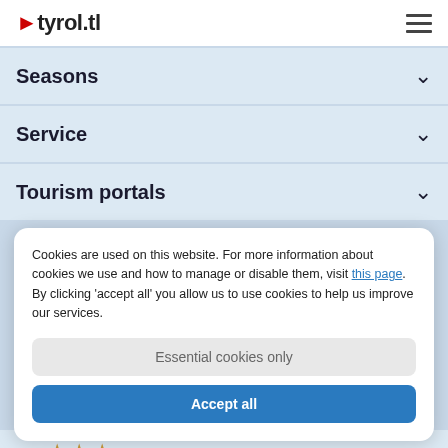▶tyrol.tl
Seasons
Service
Tourism portals
Cookies are used on this website. For more information about cookies we use and how to manage or disable them, visit this page. By clicking 'accept all' you allow us to use cookies to help us improve our services.
Essential cookies only
Accept all
★★★
Hotel Goldried
Holidays in the unique High Tauern National Park